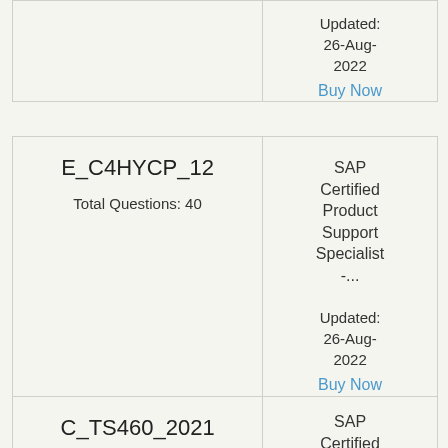| Exam | Certification |
| --- | --- |
| Updated: 26-Aug-2022
Buy Now |  |
| Exam | Certification |
| --- | --- |
| E_C4HYCP_12
Total Questions: 40 | SAP Certified Product Support Specialist -...
Updated: 26-Aug-2022
Buy Now |
| Exam | Certification |
| --- | --- |
| C_TS460_2021
Total Questions: 84 | SAP Certified Application |